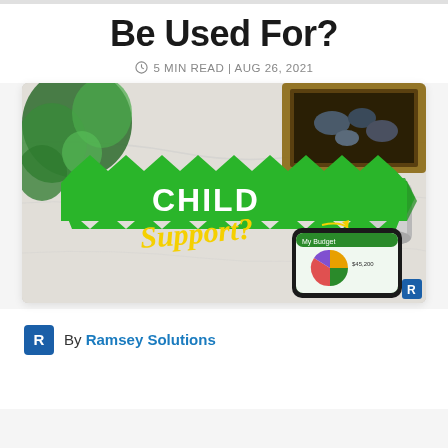Be Used For?
5 MIN READ | AUG 26, 2021
[Figure (photo): Hero image showing a green zigzag banner with text 'CHILD Support?' in white bold and yellow script lettering, placed on a marble surface alongside a smartphone displaying a budgeting app with a pie chart, a plant, and a wooden picture frame in the background. Ramsey Solutions branding visible.]
By Ramsey Solutions